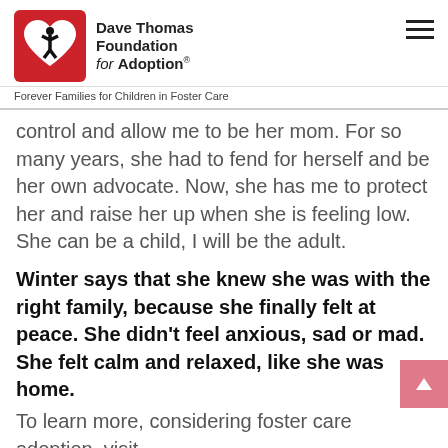Dave Thomas Foundation for Adoption® — Forever Families for Children in Foster Care
control and allow me to be her mom. For so many years, she had to fend for herself and be her own advocate. Now, she has me to protect her and raise her up when she is feeling low. She can be a child, I will be the adult.
Winter says that she knew she was with the right family, because she finally felt at peace. She didn't feel anxious, sad or mad. She felt calm and relaxed, like she was home.
To learn more, considering foster care adoption, visit